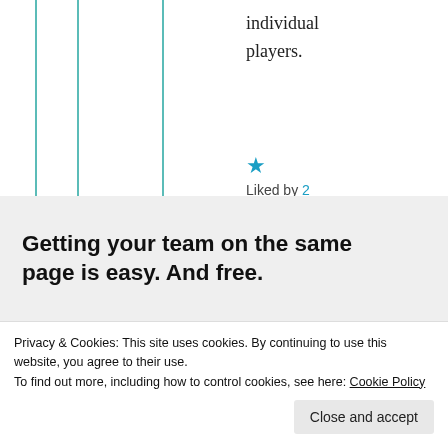individual players.
Liked by 2 people
[Figure (illustration): Promotional banner with text 'Getting your team on the same page is easy. And free.' with three circular avatar photos and a blue plus button]
Privacy & Cookies: This site uses cookies. By continuing to use this website, you agree to their use. To find out more, including how to control cookies, see here: Cookie Policy
Close and accept